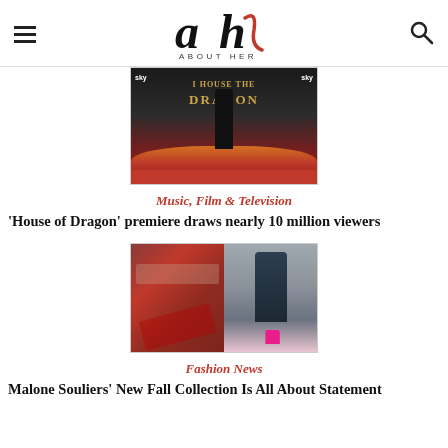About Her
[Figure (photo): Woman in black dress standing at House of the Dragon premiere event with fire backdrop and sky branding]
Music, Film & Television
'House of Dragon' premiere draws nearly 10 million viewers
[Figure (photo): Two fashion images side by side: metallic red shoe close-up on left, model in dark draped dress with pink heels on right]
Fashion News
Malone Souliers' New Fall Collection Is All About Statement